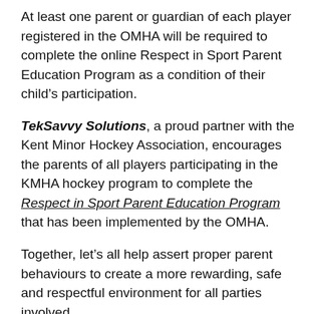At least one parent or guardian of each player registered in the OMHA will be required to complete the online Respect in Sport Parent Education Program as a condition of their child's participation.
TekSavvy Solutions, a proud partner with the Kent Minor Hockey Association, encourages the parents of all players participating in the KMHA hockey program to complete the Respect in Sport Parent Education Program that has been implemented by the OMHA.
Together, let’s all help assert proper parent behaviours to create a more rewarding, safe and respectful environment for all parties involved.
Kent Minor Hockey Association has mandated this